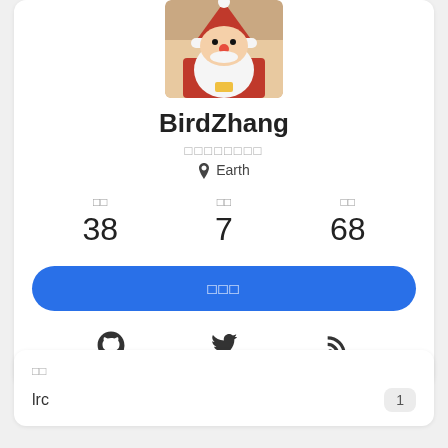[Figure (photo): Profile avatar photo of a Santa Claus stuffed toy with white beard and red hat]
BirdZhang
□□□□□□□□
📍 Earth
□□: 38   □□: 7   □□: 68
□□□ (follow button)
[Figure (infographic): Social icons row: GitHub, Twitter, RSS]
□□
lrc   1